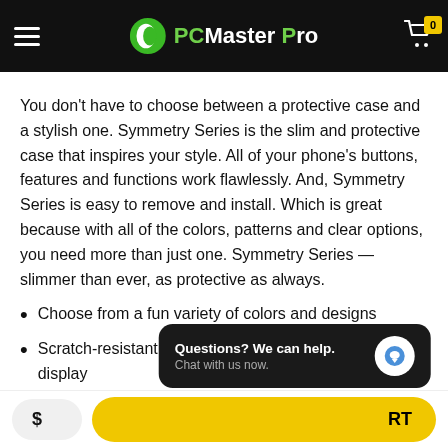PCMaster Pro
You don’t have to choose between a protective case and a stylish one. Symmetry Series is the slim and protective case that inspires your style. All of your phone’s buttons, features and functions work flawlessly. And, Symmetry Series is easy to remove and install. Which is great because with all of the colors, patterns and clear options, you need more than just one. Symmetry Series — slimmer than ever, as protective as always.
Choose from a fun variety of colors and designs
Scratch-resistant clear case puts your phone on display
Thin profi... ts